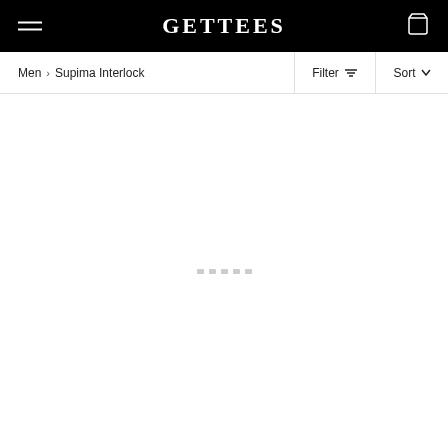GETTEES
Men > Supima Interlock
Filter Sort
[Figure (screenshot): Loading indicator with small dots in the center of the page content area]